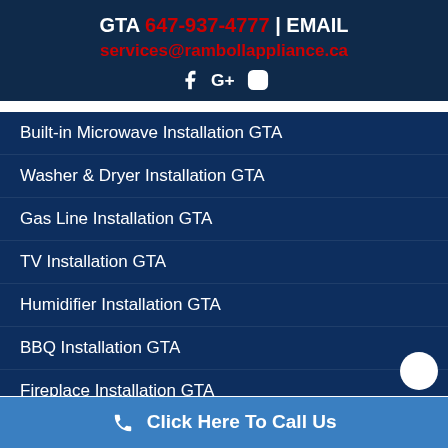GTA 647-937-4777 | EMAIL services@rambollappliance.ca
[Figure (infographic): Social media icons: Facebook, Google+, Instagram]
Built-in Microwave Installation GTA
Washer & Dryer Installation GTA
Gas Line Installation GTA
TV Installation GTA
Humidifier Installation GTA
BBQ Installation GTA
Fireplace Installation GTA
Click Here To Call Us